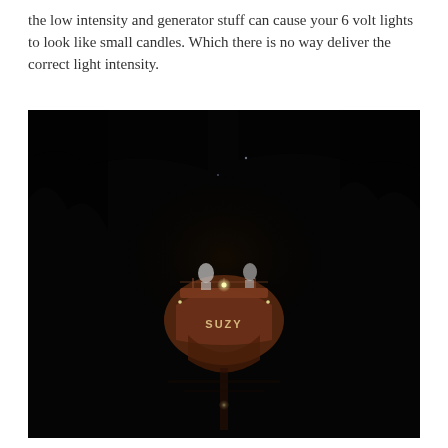the low intensity and generator stuff can cause your 6 volt lights to look like small candles. Which there is no way deliver the correct light intensity.
[Figure (photo): A dark nighttime photograph of the front/bow of a boat named 'SUZY'. The image is very dark with the vessel barely visible in the center. Two people can be seen standing on the top deck. Small navigation lights are faintly visible. The boat name 'SUZY' is faintly lit on the front of the hull.]